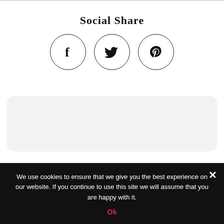Social Share
[Figure (illustration): Three circular social media share icons for Facebook (f), Twitter (bird), and Pinterest (P)]
Leave a Reply
[Figure (screenshot): White textarea input box for comment entry]
We use cookies to ensure that we give you the best experience on our website. If you continue to use this site we will assume that you are happy with it.
Ok